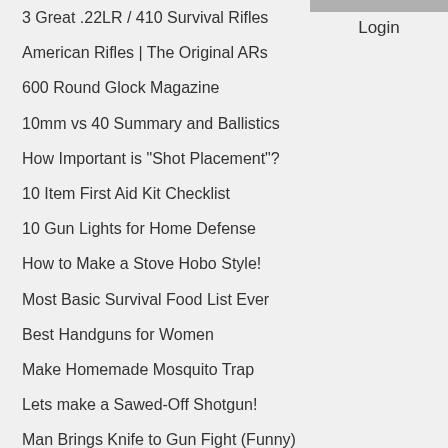3 Great .22LR / 410 Survival Rifles
American Rifles | The Original ARs
600 Round Glock Magazine
10mm vs 40 Summary and Ballistics
How Important is "Shot Placement"?
10 Item First Aid Kit Checklist
10 Gun Lights for Home Defense
How to Make a Stove Hobo Style!
Most Basic Survival Food List Ever
Best Handguns for Women
Make Homemade Mosquito Trap
Lets make a Sawed-Off Shotgun!
Man Brings Knife to Gun Fight (Funny)
Gun Store Etiquette (Proper vs Improper)
10 Simple Home Security Tips
SIG-Sauer vs Glock
Legal Length of Shotguns and Rifles
Login